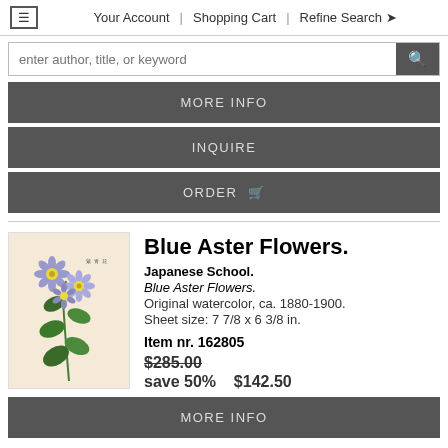Your Account | Shopping Cart | Refine Search
enter author, title, or keyword
MORE INFO
INQUIRE
ORDER
Blue Aster Flowers.
Japanese School.
Blue Aster Flowers.
Original watercolor, ca. 1880-1900.
Sheet size: 7 7/8 x 6 3/8 in.
Item nr. 162805
$285.00
save 50%   $142.50
MORE INFO